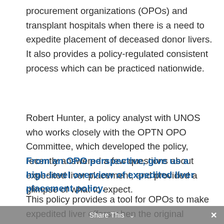procurement organizations (OPOs) and transplant hospitals when there is a need to expedite placement of deceased donor livers. It also provides a policy-regulated consistent process which can be practiced nationwide.
Robert Hunter, a policy analyst with UNOS who works closely with the OPTN OPO Committee, which developed the policy, recently answered a few questions about expedited liver placement, and provided a glimpse of what to expect.
From an OPO perspective, give us a high-level overview of expedited liver placement policy.
This policy provides a tool for OPOs to make expedited liver offers when the original accepting
Share This